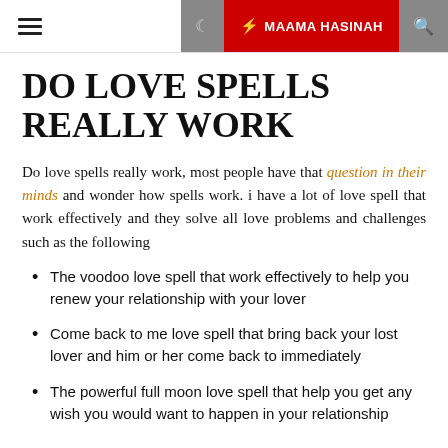☰  🌙  ⚡ MAAMA HASINAH  🔍
DO LOVE SPELLS REALLY WORK
Do love spells really work, most people have that question in their minds and wonder how spells work. i have a lot of love spell that work effectively and they solve all love problems and challenges such as the following
The voodoo love spell that work effectively to help you renew your relationship with your lover
Come back to me love spell that bring back your lost lover and him or her come back to immediately
The powerful full moon love spell that help you get any wish you would want to happen in your relationship